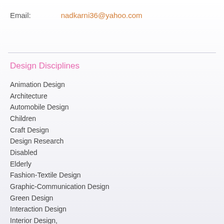Email:   nadkarni36@yahoo.com
Design Disciplines
Animation Design
Architecture
Automobile Design
Children
Craft Design
Design Research
Disabled
Elderly
Fashion-Textile Design
Graphic-Communication Design
Green Design
Interaction Design
Interior Design,
Packaging
Product-Industrial Design
Rural folks